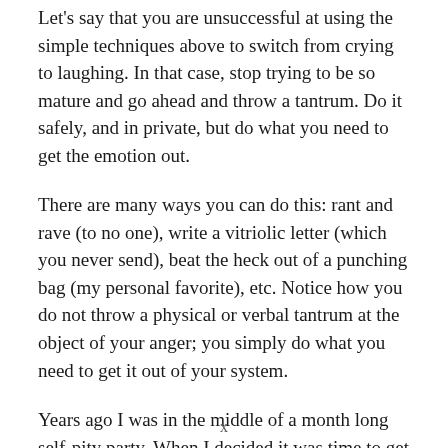Let's say that you are unsuccessful at using the simple techniques above to switch from crying to laughing. In that case, stop trying to be so mature and go ahead and throw a tantrum. Do it safely, and in private, but do what you need to get the emotion out.
There are many ways you can do this: rant and rave (to no one), write a vitriolic letter (which you never send), beat the heck out of a punching bag (my personal favorite), etc. Notice how you do not throw a physical or verbal tantrum at the object of your anger; you simply do what you need to get it out of your system.
Years ago I was in the middle of a month long self-pity party. When I decided it was time to get out of it I hopped on a treadmill. The thing is, I hate running and
x